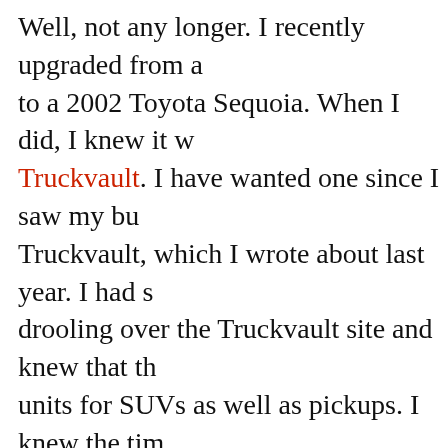Well, not any longer. I recently upgraded from a to a 2002 Toyota Sequoia. When I did, I knew it was time to get a Truckvault. I have wanted one since I saw my buddy's Truckvault, which I wrote about last year. I had spent hours drooling over the Truckvault site and knew that they made units for SUVs as well as pickups. I knew the tim
I LOGGED ON AND STARTED THE PROCESS OF DESIGNING MY OWN TRUCKVAULT.
The site makes it easy and some of the options are amazing. Anything is possible. Mine is a two drawer unit ten by fifty inches long. It spans the width of the vehicle and has carpet which matches the truck. When you look in, you don't even know it's there. It has combination locks. The drawers pull out to full extension and are lined The partition dividers The partition to the